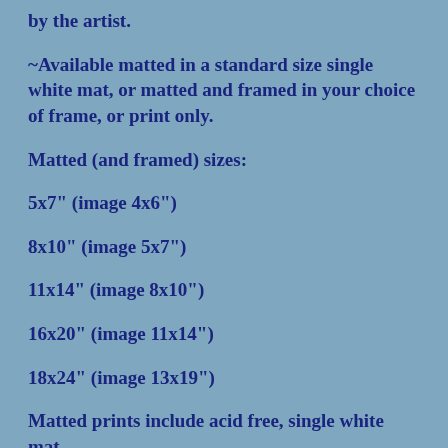by the artist.
~Available matted in a standard size single white mat, or matted and framed in your choice of frame, or print only.
Matted (and framed) sizes:
5x7" (image 4x6")
8x10" (image 5x7")
11x14" (image 8x10")
16x20" (image 11x14")
18x24" (image 13x19")
Matted prints include acid free, single white mat